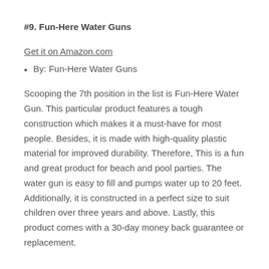#9. Fun-Here Water Guns
Get it on Amazon.com
By: Fun-Here Water Guns
Scooping the 7th position in the list is Fun-Here Water Gun. This particular product features a tough construction which makes it a must-have for most people. Besides, it is made with high-quality plastic material for improved durability. Therefore, This is a fun and great product for beach and pool parties. The water gun is easy to fill and pumps water up to 20 feet. Additionally, it is constructed in a perfect size to suit children over three years and above. Lastly, this product comes with a 30-day money back guarantee or replacement.